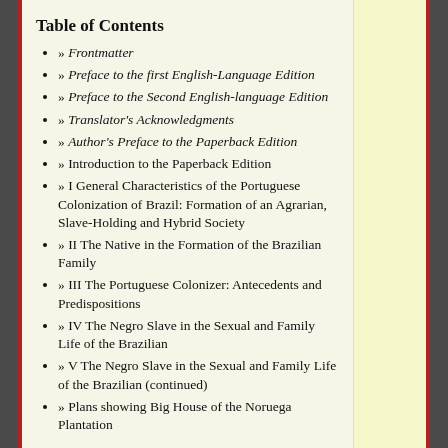Table of Contents
» Frontmatter
» Preface to the first English-Language Edition
» Preface to the Second English-language Edition
» Translator's Acknowledgments
» Author's Preface to the Paperback Edition
» Introduction to the Paperback Edition
» I General Characteristics of the Portuguese Colonization of Brazil: Formation of an Agrarian, Slave-Holding and Hybrid Society
» II The Native in the Formation of the Brazilian Family
» III The Portuguese Colonizer: Antecedents and Predispositions
» IV The Negro Slave in the Sexual and Family Life of the Brazilian
» V The Negro Slave in the Sexual and Family Life of the Brazilian (continued)
» Plans showing Big House of the Noruega Plantation